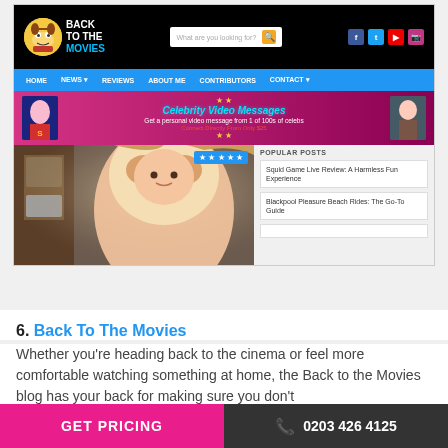[Figure (screenshot): Screenshot of the 'Back To The Movies' blog website showing the header with logo, navigation bar, an advertisement banner for Celebrity Video Messages, a main content image of a blonde woman in a kitchen, star rating overlay, and a Popular Posts sidebar with cards for 'Squid Game Live Review: A Harmless Fun Experience' and 'Blackpool Pleasure Beach Rides: The Go-To Guide']
6. Back To The Movies
Whether you’re heading back to the cinema or feel more comfortable watching something at home, the Back to the Movies blog has your back for making sure you don’t
GET PRICING   0203 426 4125